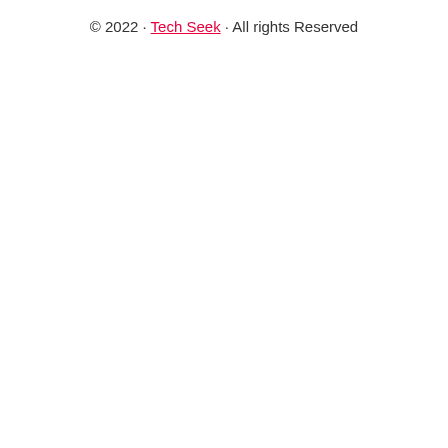© 2022 · Tech Seek · All rights Reserved